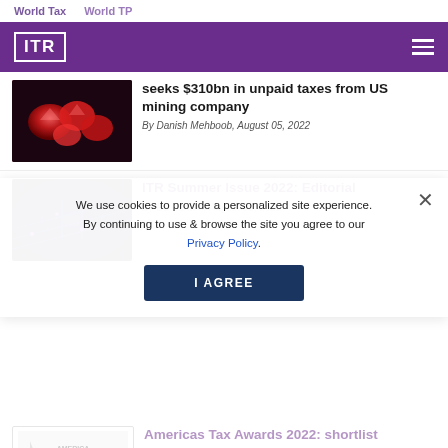World Tax   World TP
[Figure (logo): ITR logo on purple background with hamburger menu]
[Figure (photo): Red gemstones/rubies on dark background]
seeks $310bn in unpaid taxes from US mining company
By Danish Mehboob, August 05, 2022
[Figure (photo): Blue digital circuit board with purple lighting]
ITR Summer Issue 2022: Editorial
By Ed Canton, August 05, 2022
We use cookies to provide a personalized site experience. By continuing to use & browse the site you agree to our Privacy Policy.
[Figure (logo): America Awards logo - faded]
Americas Tax Awards 2022: shortlist announced
By John Harrison, August 04, 2022